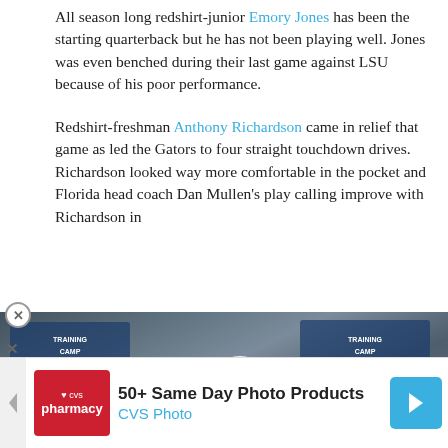All season long redshirt-junior Emory Jones has been the starting quarterback but he has not been playing well. Jones was even benched during their last game against LSU because of his poor performance.
Redshirt-freshman Anthony Richardson came in relief that game as led the Gators to four straight touchdown drives. Richardson looked way more comfortable in the pocket and Florida head coach Dan Mullen's play calling improve with Richardson in the starting quarterback on ve one of the best rushing Gators average 3544
[Figure (photo): Video thumbnail showing a football player at a press conference with training camp backdrop, with a play button overlay]
[Figure (infographic): CVS Pharmacy advertisement banner: '50+ Same Day Photo Products' and 'CVS Photo']